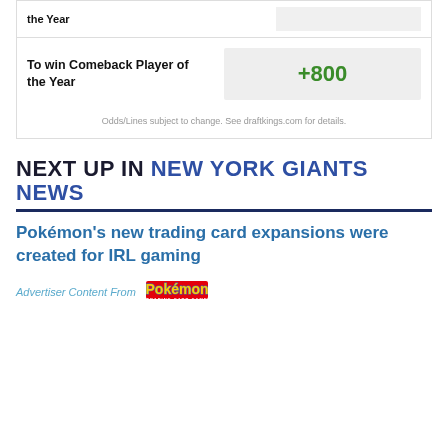| the Year |  |
| To win Comeback Player of the Year | +800 |
Odds/Lines subject to change. See draftkings.com for details.
NEXT UP IN NEW YORK GIANTS NEWS
Pokémon's new trading card expansions were created for IRL gaming
Advertiser Content From
[Figure (logo): Pokémon Trading Card Game logo]